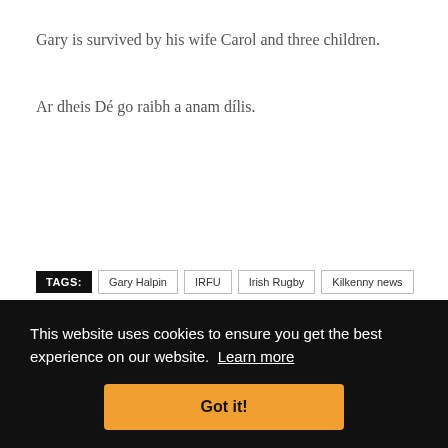Gary is survived by his wife Carol and three children.
Ar dheis Dé go raibh a anam dílis.
TAGS: Gary Halpin  IRFU  Irish Rugby  Kilkenny news  Kilkenny Rugby  Kilkenny sport
This website uses cookies to ensure you get the best experience on our website. Learn more
Got it!
< Previous   Next >